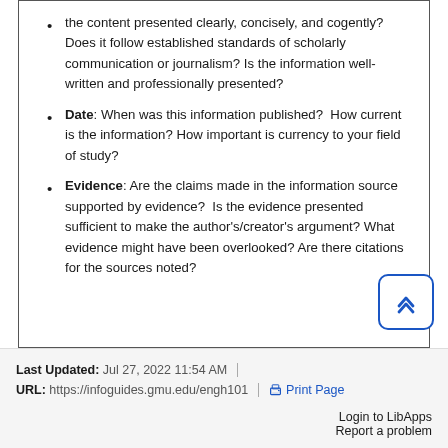the content presented clearly, concisely, and cogently? Does it follow established standards of scholarly communication or journalism? Is the information well-written and professionally presented?
Date: When was this information published? How current is the information? How important is currency to your field of study?
Evidence: Are the claims made in the information source supported by evidence? Is the evidence presented sufficient to make the author's/creator's argument? What evidence might have been overlooked? Are there citations for the sources noted?
Last Updated: Jul 27, 2022 11:54 AM | URL: https://infoguides.gmu.edu/engh101 | Print Page | Login to LibApps | Report a problem